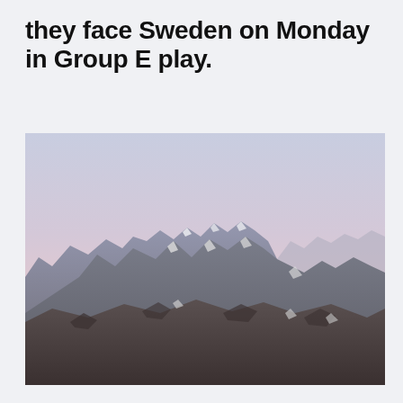they face Sweden on Monday in Group E play.
[Figure (photo): Mountain peaks at dusk with a pale pink and purple sky. Rocky jagged peaks with patches of snow fill the lower half of the image against a gradient sky transitioning from pale lavender at the top to soft pink near the horizon.]